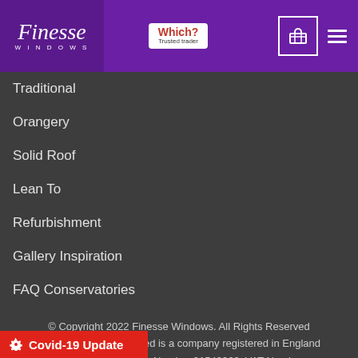Finesse Windows — Which? Trusted Trader
Traditional
Orangery
Solid Roof
Lean To
Refurbishment
Gallery Inspiration
FAQ Conservatories
© Copyright 2022 Finesse Windows. All Rights Reserved Finesse Windows Limited is a company registered in England and Wales. Company Number 01549969. VAT Number: GB346358243.
Covid-19 Update